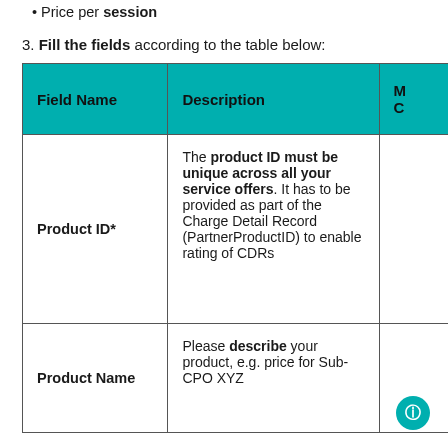Price per session
3. Fill the fields according to the table below:
| Field Name | Description | M C |
| --- | --- | --- |
| Product ID* | The product ID must be unique across all your service offers. It has to be provided as part of the Charge Detail Record (PartnerProductID) to enable rating of CDRs |  |
| Product Name | Please describe your product, e.g. price for Sub-CPO XYZ |  |